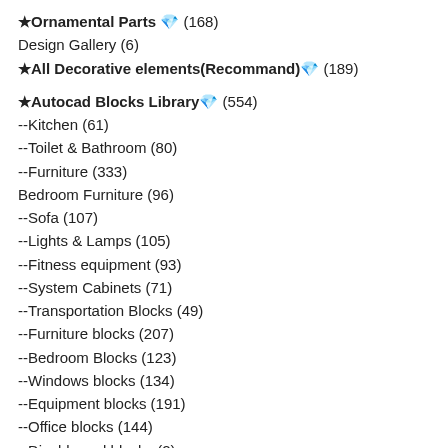★Ornamental Parts 💎 (168)
Design Gallery (6)
★All Decorative elements(Recommand) 💎 (189)
★Autocad Blocks Library 💎 (554)
--Kitchen (61)
--Toilet & Bathroom (80)
--Furniture (333)
Bedroom Furniture (96)
--Sofa (107)
--Lights & Lamps (105)
--Fitness equipment (93)
--System Cabinets (71)
--Transportation Blocks (49)
--Furniture blocks (207)
--Bedroom Blocks (123)
--Windows blocks (134)
--Equipment blocks (191)
--Office blocks (144)
--Disable cad blocks (2)